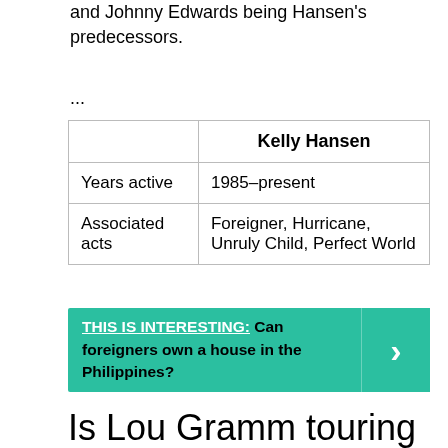and Johnny Edwards being Hansen's predecessors.
...
|  | Kelly Hansen |
| --- | --- |
| Years active | 1985–present |
| Associated acts | Foreigner, Hurricane, Unruly Child, Perfect World |
THIS IS INTERESTING:  Can foreigners own a house in the Philippines?
Is Lou Gramm touring with Foreigner in 2020?